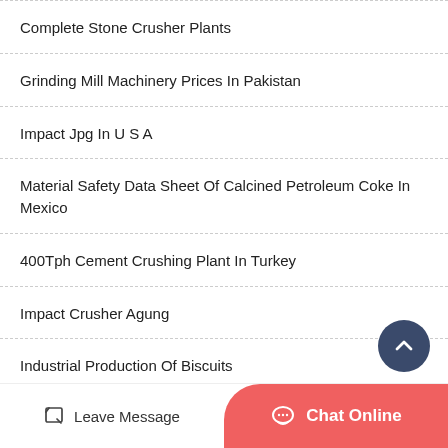Complete Stone Crusher Plants
Grinding Mill Machinery Prices In Pakistan
Impact Jpg In U S A
Material Safety Data Sheet Of Calcined Petroleum Coke In Mexico
400Tph Cement Crushing Plant In Turkey
Impact Crusher Agung
Industrial Production Of Biscuits
Manufacture Of Traditional Grinding Mill
Leave Message   Chat Online